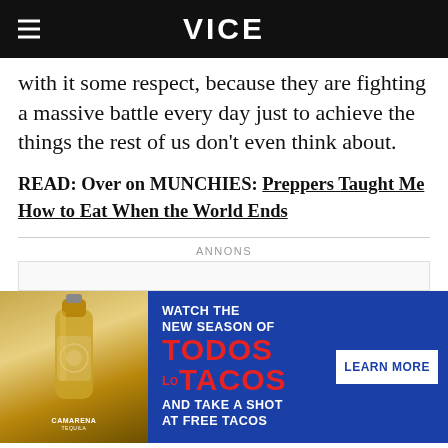VICE
with it some respect, because they are fighting a massive battle every day just to achieve the things the rest of us don't even think about.
READ: Over on MUNCHIES: Preppers Taught Me How to Eat When the World Ends
ANNONS
[Figure (other): Advertisement banner for Camarena Tequila promoting 'Watch the New Season of Todos Los Tacos and Take a Shot at Free Tacos' with a Learn More button.]